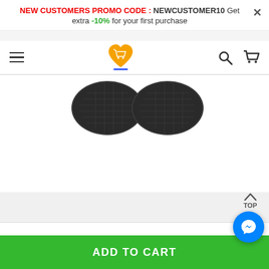NEW CUSTOMERS PROMO CODE : NEWCUSTOMER10 Get extra -10% for your first purchase
[Figure (logo): Shopping cart logo with orange heart]
[Figure (photo): Product image showing two dark textured shoe soles or pads]
Shipping & Payment
TOP
ADD TO CART